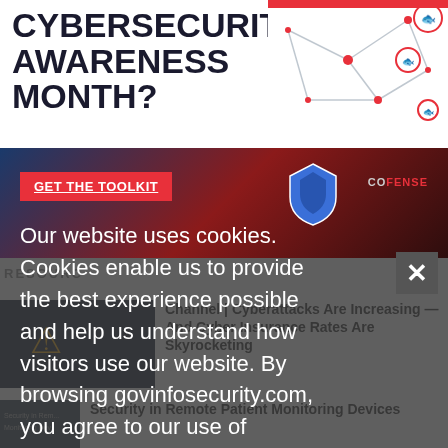[Figure (infographic): Cybersecurity Awareness Month banner with bold dark text 'CYBERSECURITY AWARENESS MONTH?' on left and network/phishing fish graphic on right]
[Figure (infographic): Dark blue-to-red gradient banner with 'GET THE TOOLKIT' red button, a blue shield logo, and a Cofense logo on the right]
Our website uses cookies. Cookies enable us to provide the best experience possible and help us understand how visitors use our website. By browsing govinfosecurity.com, you agree to our use of cookies.
RESOURCES
[Figure (screenshot): Thumbnail of a dark article image with a warning triangle icon overlay]
Channel | Cyberattacks Are Increasing — And Cyber Insurance Rates Are Skyrocketing
[Figure (screenshot): Small thumbnail labeled 'Security in Remote Patient Monitoring Devices']
Security in Remote Patient Monitoring Devices